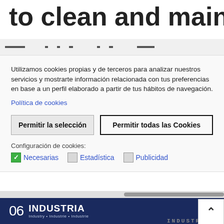to clean and maintain.
[Figure (screenshot): Blurred/obscured navigation bar with dark horizontal lines and dots on light grey background]
Utilizamos cookies propias y de terceros para analizar nuestros servicios y mostrarte información relacionada con tus preferencias en base a un perfil elaborado a partir de tus hábitos de navegación.
Política de cookies
Permitir la selección
Permitir todas las Cookies
Configuración de cookies:
☑ Necesarias  ☐ Estadística  ☐ Publicidad
[Figure (screenshot): Horizontal scrollbar on light grey background]
[Figure (screenshot): Dark navy blue footer bar with '06 INDUSTRIA Industry • Industrie • Industrie' logo and a white back-to-top button with upward arrow, and partial 'INDUSTRIAL' text at bottom right]